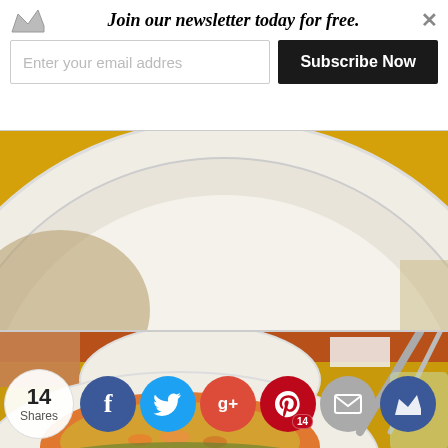Join our newsletter today for free. [email input] [Subscribe Now] [x]
[Figure (photo): Close-up of a large white plate on a yellow tablecloth, viewed from above]
[Figure (photo): Restaurant table scene with a plate of food (rice/casserole dish), silverware, and people in background]
14 Shares
[Figure (infographic): Social share buttons: Facebook, Twitter, Google+, Pinterest (14), Email, Crown/bookmark]